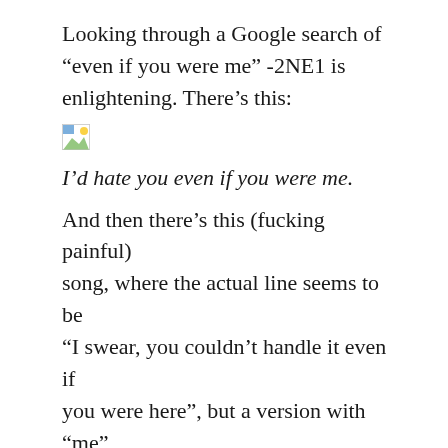Looking through a Google search of “even if you were me” -2NE1 is enlightening. There’s this:
[Figure (photo): Broken/missing image placeholder (small thumbnail icon)]
I’d hate you even if you were me.
And then there’s this (fucking painful) song, where the actual line seems to be “I swear, you couldn’t handle it even if you were here”, but a version with “me” instead has made it onto lyrics sites.
Then there’s a nice response to ridiculous senatorial candidate Christine O’Donnell last year: